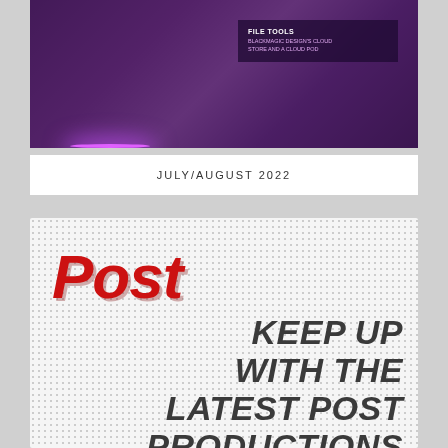[Figure (photo): Dark purple background magazine cover image with glowing pink/purple lighting and a text overlay box]
JULY/AUGUST 2022
[Figure (illustration): Post magazine logo in red italic bold font on dotted grey background with tagline text]
KEEP UP WITH THE LATEST POST PRODUCTIONS TRENDS AND NEWS